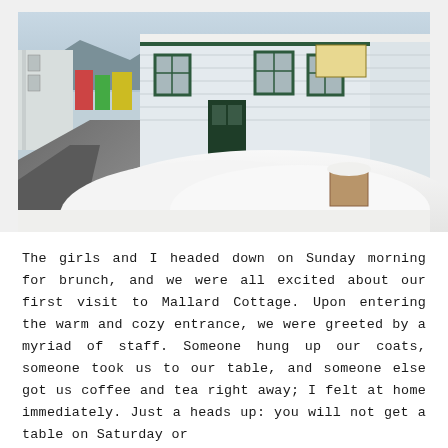[Figure (photo): A white clapboard building (Mallard Cottage) in winter, with large snow drifts piled up along the front and side. A wet road curves in the foreground. Snowy hills and other buildings are visible in the background under an overcast sky.]
The girls and I headed down on Sunday morning for brunch, and we were all excited about our first visit to Mallard Cottage. Upon entering the warm and cozy entrance, we were greeted by a myriad of staff. Someone hung up our coats, someone took us to our table, and someone else got us coffee and tea right away; I felt at home immediately. Just a heads up: you will not get a table on Saturday or